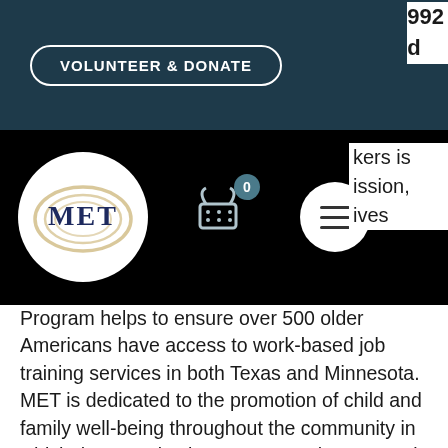[Figure (screenshot): Dark teal navigation bar with 'VOLUNTEER & DONATE' button in white rounded border]
992
d
[Figure (logo): MET organization logo - circular white badge with gold swirls and dark navy MET text]
[Figure (screenshot): Shopping cart icon with badge showing 0 and hamburger menu circle button on black bar]
kers is
ssion,
ives
Program helps to ensure over 500 older Americans have access to work-based job training services in both Texas and Minnesota.
MET is dedicated to the promotion of child and family well-being throughout the community in which the organization operates. The agency is specifically charged with providing comprehensive child and family development services for over 1,600 infants, toddlers, preschool age children, and their families, our team